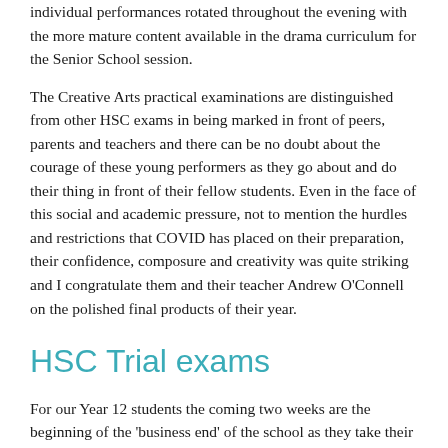individual performances rotated throughout the evening with the more mature content available in the drama curriculum for the Senior School session.
The Creative Arts practical examinations are distinguished from other HSC exams in being marked in front of peers, parents and teachers and there can be no doubt about the courage of these young performers as they go about and do their thing in front of their fellow students. Even in the face of this social and academic pressure, not to mention the hurdles and restrictions that COVID has placed on their preparation, their confidence, composure and creativity was quite striking and I congratulate them and their teacher Andrew O'Connell on the polished final products of their year.
HSC Trial exams
For our Year 12 students the coming two weeks are the beginning of the 'business end' of the school as they take their HSC Trial Exams. With the course work largely completed, these exams mirror the HSC exams to come in October and they will contribute significantly to final assessment grades and ATARs. This is a time of